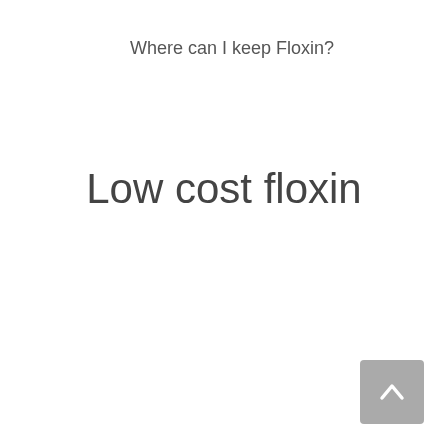Where can I keep Floxin?
Low cost floxin